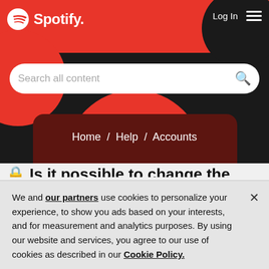[Figure (screenshot): Spotify website header with red/black background, Spotify logo top-left, Log In and hamburger menu top-right, search bar, decorative circles, breadcrumb navigation Home / Help / Accounts, and partially visible page title]
We and our partners use cookies to personalize your experience, to show you ads based on your interests, and for measurement and analytics purposes. By using our website and services, you agree to our use of cookies as described in our Cookie Policy.